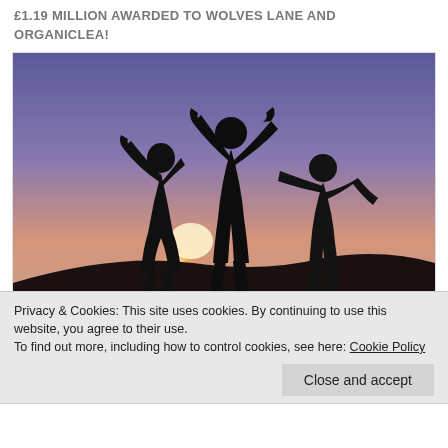£1.19 MILLION AWARDED TO WOLVES LANE AND ORGANICLEA!
[Figure (photo): Silhouette of three people jumping joyfully against a sunset sky with purple and orange hues, outdoors on a hillside.]
Organiclea and Wolves Lane have been awarded £1.19 million from the Mayor's Good Growth Fund (the Market Garden City project).
Privacy & Cookies: This site uses cookies. By continuing to use this website, you agree to their use.
To find out more, including how to control cookies, see here: Cookie Policy
Close and accept